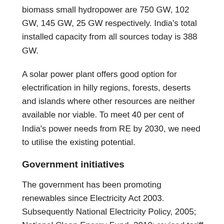biomass small hydropower are 750 GW, 102 GW, 145 GW, 25 GW respectively. India's total installed capacity from all sources today is 388 GW.
A solar power plant offers good option for electrification in hilly regions, forests, deserts and islands where other resources are neither available nor viable. To meet 40 per cent of India's power needs from RE by 2030, we need to utilise the existing potential.
Government initiatives
The government has been promoting renewables since Electricity Act 2003. Subsequently National Electricity Policy, 2005; National Clean Energy Fund, 2010; revised tariff policy 2016, were formulated to incentivise and create a market for renewable energy sector.